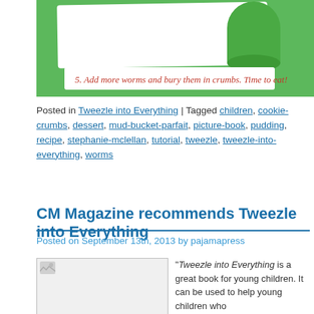[Figure (photo): Photo showing a green background with a white napkin/plate and a green cup. Text overlay reads: '5. Add more worms and bury them in crumbs. Time to eat!']
Posted in Tweezle into Everything | Tagged children, cookie-crumbs, dessert, mud-bucket-parfait, picture-book, pudding, recipe, stephanie-mclellan, tutorial, tweezle, tweezle-into-everything, worms
CM Magazine recommends Tweezle into Everything
Posted on September 13th, 2013 by pajamapress
[Figure (photo): Book cover image placeholder]
“Tweezle into Everything is a great book for young children. It can be used to help young children who